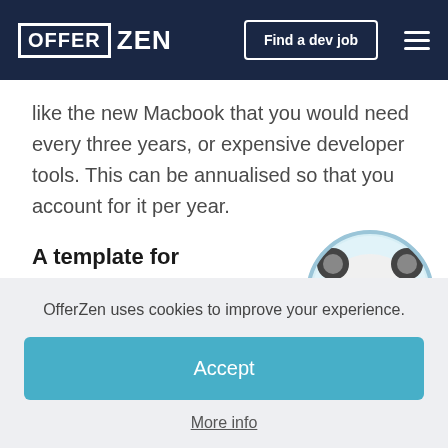OFFER ZEN — Find a dev job
like the new Macbook that you would need every three years, or expensive developer tools. This can be annualised so that you account for it per year.
A template for calculating your h rate
[Figure (illustration): Cartoon panda mascot in astronaut suit, waving, with large round helmet]
OfferZen uses cookies to improve your experience.
Accept
More info